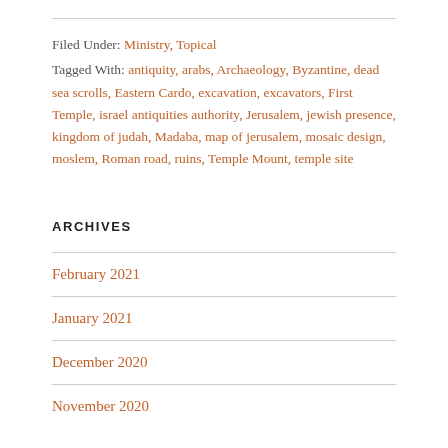Filed Under: Ministry, Topical
Tagged With: antiquity, arabs, Archaeology, Byzantine, dead sea scrolls, Eastern Cardo, excavation, excavators, First Temple, israel antiquities authority, Jerusalem, jewish presence, kingdom of judah, Madaba, map of jerusalem, mosaic design, moslem, Roman road, ruins, Temple Mount, temple site
ARCHIVES
February 2021
January 2021
December 2020
November 2020